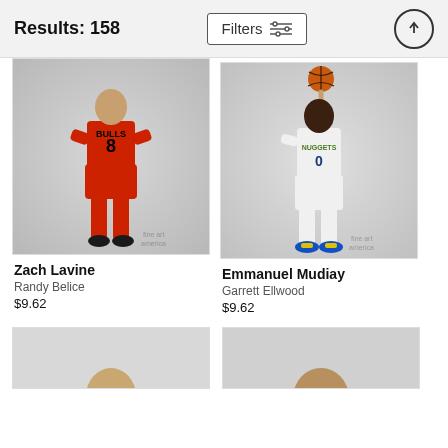Results: 158
Filters
[Figure (photo): Zach Lavine in Chicago Bulls red uniform #8, standing with hands on hips, fine art america watermark]
Zach Lavine
Randy Belice
$9.62
[Figure (photo): Emmanuel Mudiay in Denver Nuggets white uniform #0, spinning basketball on finger, fine art america watermark]
Emmanuel Mudiay
Garrett Ellwood
$9.62
[Figure (photo): Partial view of a third player photo at bottom left, cropped]
[Figure (photo): Partial view of a fourth player photo at bottom right, cropped]